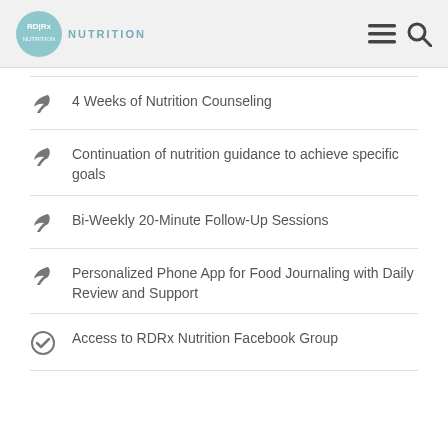RDRx NUTRITION
4 Weeks of Nutrition Counseling
Continuation of nutrition guidance to achieve specific goals
Bi-Weekly 20-Minute Follow-Up Sessions
Personalized Phone App for Food Journaling with Daily Review and Support
Access to RDRx Nutrition Facebook Group